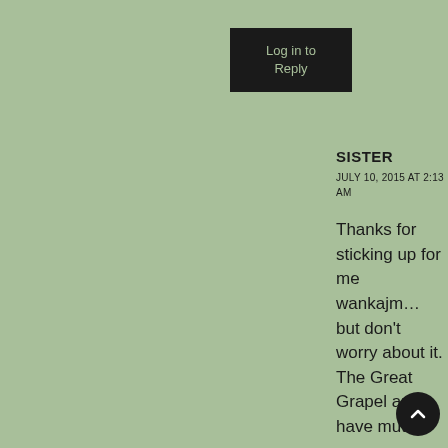Log in to Reply
SISTER
JULY 10, 2015 AT 2:13 AM
Thanks for sticking up for me wankajm… but don't worry about it. The Great Grapel and I have mutual